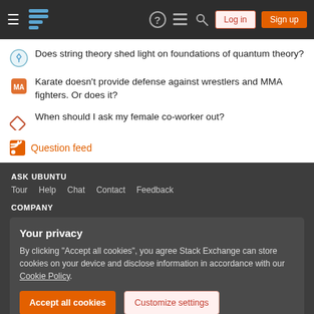Stack Exchange navigation header with Log in and Sign up buttons
Does string theory shed light on foundations of quantum theory?
Karate doesn't provide defense against wrestlers and MMA fighters. Or does it?
When should I ask my female co-worker out?
Question feed
ASK UBUNTU — Tour Help Chat Contact Feedback — COMPANY
Your privacy — By clicking "Accept all cookies", you agree Stack Exchange can store cookies on your device and disclose information in accordance with our Cookie Policy.